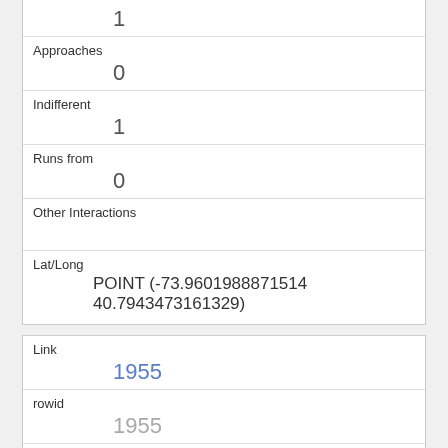| 1 |
| Approaches | 0 |
| Indifferent | 1 |
| Runs from | 0 |
| Other Interactions |  |
| Lat/Long | POINT (-73.9601988871514 40.7943473161329) |
| Link | 1955 |
| rowid | 1955 |
| longitude | -73.9606559309874 |
| latitude | 40.7889527629826 |
| Unique SquirrelID |  |